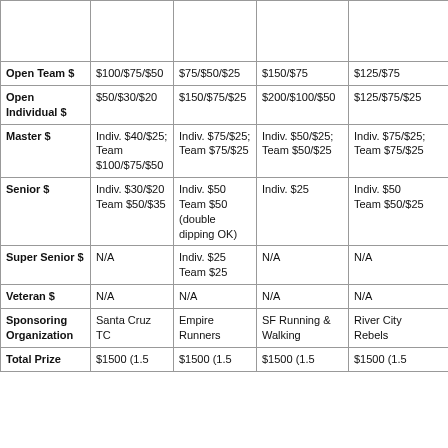|  | Col1 | Col2 | Col3 | Col4 |
| --- | --- | --- | --- | --- |
|  |  |  |  |  |
| Open Team $ | $100/$75/$50 | $75/$50/$25 | $150/$75 | $125/$75 | $7 |
| Open Individual $ | $50/$30/$20 | $150/$75/$25 | $200/$100/$50 | $125/$75/$25 | $ |
| Master $ | Indiv. $40/$25; Team $100/$75/$50 | Indiv. $75/$25; Team $75/$25 | Indiv. $50/$25; Team $50/$25 | Indiv. $75/$25; Team $75/$25 | In Te |
| Senior $ | Indiv. $30/$20 Team $50/$35 | Indiv. $50 Team $50 (double dipping OK) | Indiv. $25 | Indiv. $50 Team $50/$25 | In Te |
| Super Senior $ | N/A | Indiv. $25 Team $25 | N/A | N/A | N |
| Veteran $ | N/A | N/A | N/A | N/A | N |
| Sponsoring Organization | Santa Cruz TC | Empire Runners | SF Running & Walking | River City Rebels | W |
| Total Prize | $1500 (1.5 | $1500 (1.5 | $1500 (1.5 | $1500 (1.5 | $ |